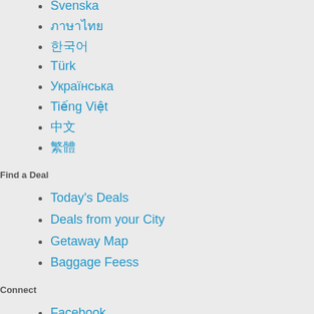Svenska
ภาษาไทย
한국어
Türk
Українська
Tiếng Việt
中文
繁體
Find a Deal
Today's Deals
Deals from your City
Getaway Map
Baggage Feess
Connect
Facebook
Twitter
Instagram